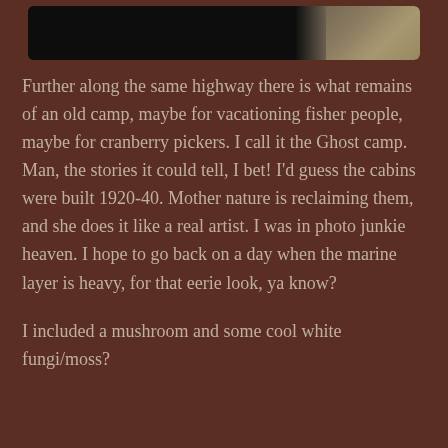[Figure (photo): Top portion of a dark photograph showing what appears to be rocks or organic material with dark and light-textured surfaces against a dark background, shown in a rounded rectangle frame.]
Further along the same highway there is what remains of an old camp, maybe for vacationing fisher people, maybe for cranberry pickers. I call it the Ghost camp. Man, the stories it could tell, I bet! I'd guess the cabins were built 1920-40. Mother nature is reclaiming them, and she does it like a real artist. I was in photo junkie heaven. I hope to go back on a day when the marine layer is heavy, for that eerie look, ya know?
I included a mushroom and some cool white fungi/moss?